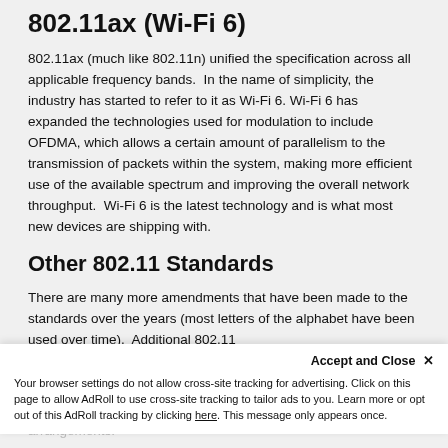802.11ax (Wi-Fi 6)
802.11ax (much like 802.11n) unified the specification across all applicable frequency bands.  In the name of simplicity, the industry has started to refer to it as Wi-Fi 6. Wi-Fi 6 has expanded the technologies used for modulation to include OFDMA, which allows a certain amount of parallelism to the transmission of packets within the system, making more efficient use of the available spectrum and improving the overall network throughput.  Wi-Fi 6 is the latest technology and is what most new devices are shipping with.
Other 802.11 Standards
There are many more amendments that have been made to the standards over the years (most letters of the alphabet have been used over time).  Additional 802.11 standards have focused on things like better arrangements.
Accept and Close ×
Your browser settings do not allow cross-site tracking for advertising. Click on this page to allow AdRoll to use cross-site tracking to tailor ads to you. Learn more or opt out of this AdRoll tracking by clicking here. This message only appears once.